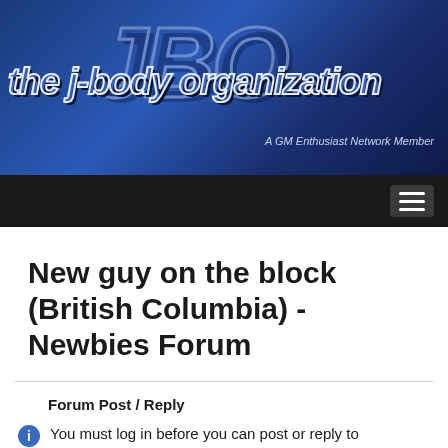[Figure (logo): The J-Body Organization logo banner — blue gradient background with large stylized 'JBO' letters and text 'the j-body organization' in white outlined italic font. Tagline: 'A GM Enthusiast Network Member']
Navigation bar with hamburger menu icon
New guy on the block (British Columbia) - Newbies Forum
Forum Post / Reply
You must log in before you can post or reply to messages.